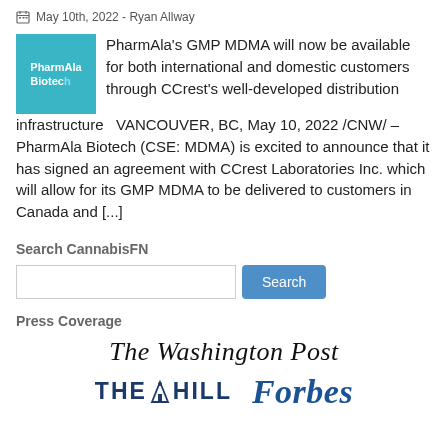May 10th, 2022 - Ryan Allway
[Figure (logo): PharmAla Biotech logo — teal/cyan square with white text]
PharmAla's GMP MDMA will now be available for both international and domestic customers through CCrest's well-developed distribution infrastructure   VANCOUVER, BC, May 10, 2022 /CNW/ – PharmAla Biotech (CSE: MDMA) is excited to announce that it has signed an agreement with CCrest Laboratories Inc. which will allow for its GMP MDMA to be delivered to customers in Canada and [...]
Search CannabisFN
Press Coverage
[Figure (logo): The Washington Post logo in serif italic font]
[Figure (logo): The Hill logo in bold uppercase blue sans-serif with capitol dome icon]
[Figure (logo): Forbes logo in bold blue italic serif font]